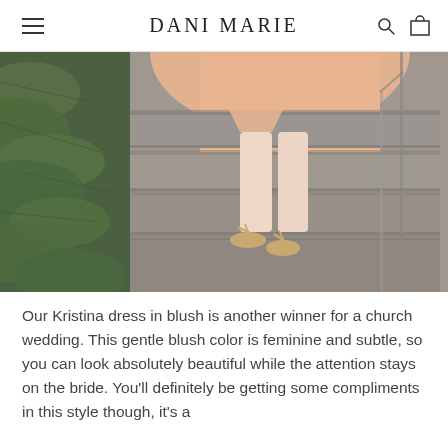DANI MARIE
[Figure (photo): A woman in a blush/peach midi dress and gold strappy sandals walking down concrete outdoor steps, with green tropical foliage on the left side and a metal railing on the right.]
Our Kristina dress in blush is another winner for a church wedding. This gentle blush color is feminine and subtle, so you can look absolutely beautiful while the attention stays on the bride. You'll definitely be getting some compliments in this style though, it's a